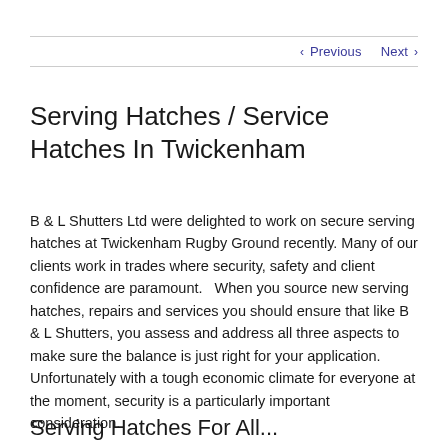‹ Previous   Next ›
Serving Hatches / Service Hatches In Twickenham
B & L Shutters Ltd were delighted to work on secure serving hatches at Twickenham Rugby Ground recently. Many of our clients work in trades where security, safety and client confidence are paramount.   When you source new serving hatches, repairs and services you should ensure that like B & L Shutters, you assess and address all three aspects to make sure the balance is just right for your application.  Unfortunately with a tough economic climate for everyone at the moment, security is a particularly important consideration.
Serving Hatches For All...